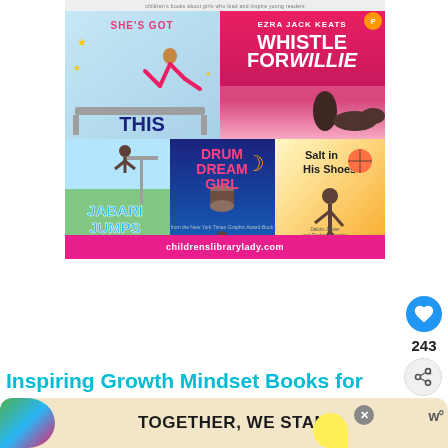[Figure (illustration): Collage of children's book covers: She's Got This (gymnast on balance beam), Whistle for Willie by Ezra Jack Keats, Jabari Jumps by Gaia Cornwall, Drum Dream Girl, Salt in His Shoes. Pink banner at bottom reads childrenslibrarylady.com]
243
[Figure (illustration): What's Next thumbnail showing colorful book cover for Picture Books about...]
WHAT'S NEXT → Picture Books about...
Inspiring Growth Mindset Books for
[Figure (illustration): Advertisement banner: TOGETHER, WE STAND with colorful blobs and W logo]